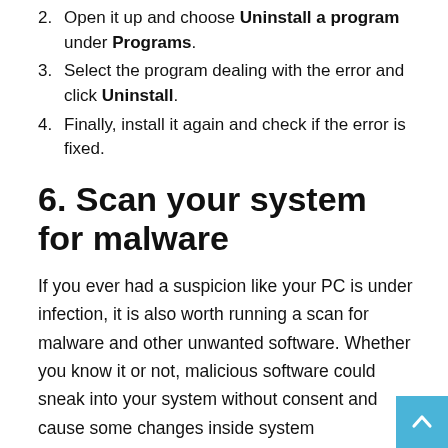2. Open it up and choose Uninstall a program under Programs.
3. Select the program dealing with the error and click Uninstall.
4. Finally, install it again and check if the error is fixed.
6. Scan your system for malware
If you ever had a suspicion like your PC is under infection, it is also worth running a scan for malware and other unwanted software. Whether you know it or not, malicious software could sneak into your system without consent and cause some changes inside system configuration, which led to various errors. You can use either in-built Windows Defender or install advanced anti-malware software that will combat threats that Windows could miss. We recommend you to use an antivirus developed by Malwarebytes – a trusted and